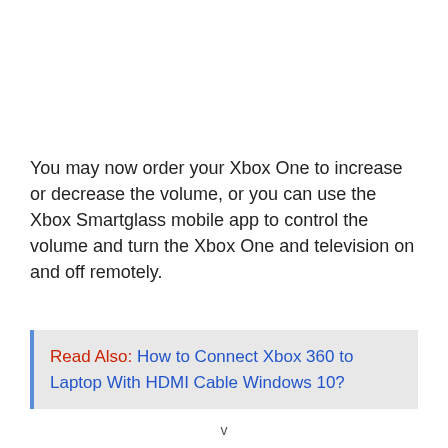You may now order your Xbox One to increase or decrease the volume, or you can use the Xbox Smartglass mobile app to control the volume and turn the Xbox One and television on and off remotely.
Read Also: How to Connect Xbox 360 to Laptop With HDMI Cable Windows 10?